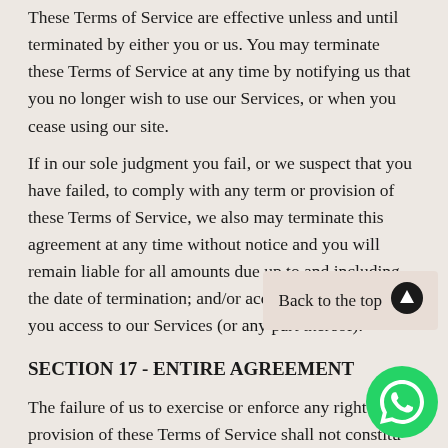These Terms of Service are effective unless and until terminated by either you or us. You may terminate these Terms of Service at any time by notifying us that you no longer wish to use our Services, or when you cease using our site.
If in our sole judgment you fail, or we suspect that you have failed, to comply with any term or provision of these Terms of Service, we also may terminate this agreement at any time without notice and you will remain liable for all amounts due up to and including the date of termination; and/or accordingly may deny you access to our Services (or any part thereof).
Back to the top
SECTION 17 - ENTIRE AGREEMENT
The failure of us to exercise or enforce any right or provision of these Terms of Service shall not constitu...